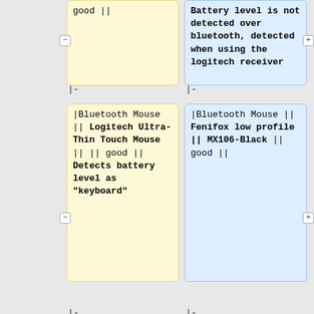good ||
Battery level is not detected over bluetooth, detected when using the logitech receiver
|-
|-
|Bluetooth Mouse || Logitech Ultra-Thin Touch Mouse || || good || Detects battery level as "keyboard"
|Bluetooth Mouse || Fenifox low profile || MX106-Black || good ||
|-
|-